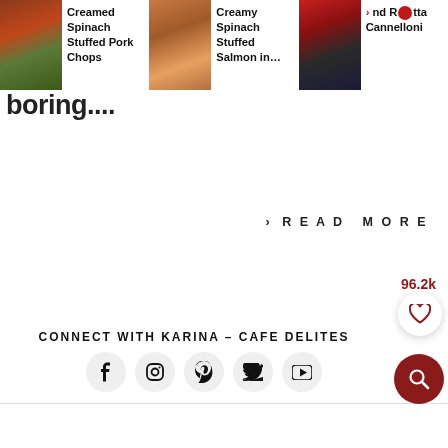[Figure (photo): Food card: Creamed Spinach Stuffed Pork Chops]
[Figure (photo): Food card: Creamy Spinach Stuffed Salmon in...]
[Figure (photo): Food card: Turkey, Spinach and Ricotta Cannelloni]
boring....
> READ MORE
96.2k
CONNECT WITH KARINA – CAFE DELITES